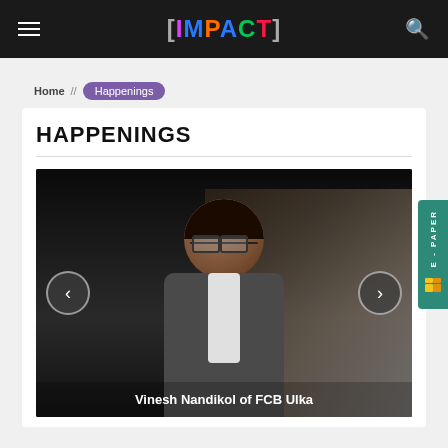[IMPACT]
Home // Happenings
HAPPENINGS
[Figure (photo): A man wearing glasses and a grey suit jacket, shown at an event. Navigation arrows on left and right. Caption reads: Vinesh Nandikol of FCB Ulka]
Vinesh Nandikol of FCB Ulka